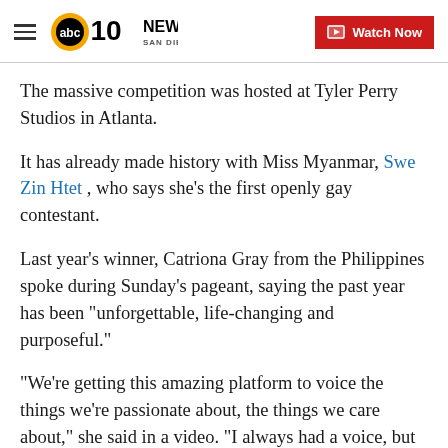ABC 10News San Diego | Watch Now
The massive competition was hosted at Tyler Perry Studios in Atlanta.
It has already made history with Miss Myanmar, Swe Zin Htet , who says she's the first openly gay contestant.
Last year's winner, Catriona Gray from the Philippines spoke during Sunday's pageant, saying the past year has been "unforgettable, life-changing and purposeful."
"We're getting this amazing platform to voice the things we're passionate about, the things we care about," she said in a video. "I always had a voice, but Miss Universe allowed me to amplify it."